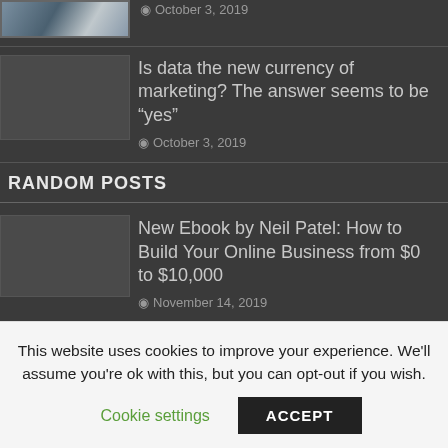[Figure (photo): Partial thumbnail image of an article, cropped at top]
Is data the new currency of marketing? The answer seems to be “yes”
October 3, 2019
RANDOM POSTS
[Figure (photo): Thumbnail placeholder for Neil Patel ebook article]
New Ebook by Neil Patel: How to Build Your Online Business from $0 to $10,000
November 14, 2019
[Figure (photo): Thumbnail placeholder for internship salary article]
Can the Average Internship Salary Pay for College Tuition?
November 13, 2019
This website uses cookies to improve your experience. We'll assume you're ok with this, but you can opt-out if you wish.
Cookie settings   ACCEPT